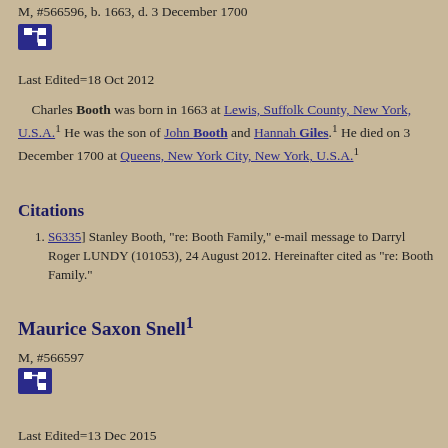M, #566596, b. 1663, d. 3 December 1700
[Figure (other): Blue icon button with a branching tree/network diagram symbol]
Last Edited=18 Oct 2012
Charles Booth was born in 1663 at Lewis, Suffolk County, New York, U.S.A.1 He was the son of John Booth and Hannah Giles.1 He died on 3 December 1700 at Queens, New York City, New York, U.S.A.1
Citations
[S6335] Stanley Booth, "re: Booth Family," e-mail message to Darryl Roger LUNDY (101053), 24 August 2012. Hereinafter cited as "re: Booth Family."
Maurice Saxon Snell1
M, #566597
[Figure (other): Blue icon button with a branching tree/network diagram symbol]
Last Edited=13 Dec 2015